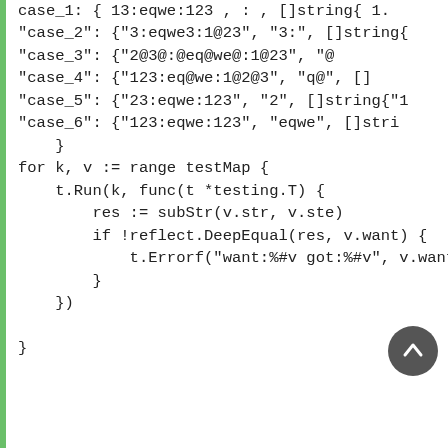case_1: { 13:eqwe:123 , : , []string{ 1.
"case_2": {"3:eqwe3:1@23", "3:", []string{
"case_3": {"2@3@:@eq@we@:1@23", "@
"case_4": {"123:eq@we:1@2@3", "q@", []
"case_5": {"23:eqwe:123", "2", []string{"1
"case_6": {"123:eqwe:123", "eqwe", []stri
}
for k, v := range testMap {
    t.Run(k, func(t *testing.T) {
        res := subStr(v.str, v.ste)
        if !reflect.DeepEqual(res, v.want) {
            t.Errorf("want:%#v got:%#v", v.want
        }
    })

}